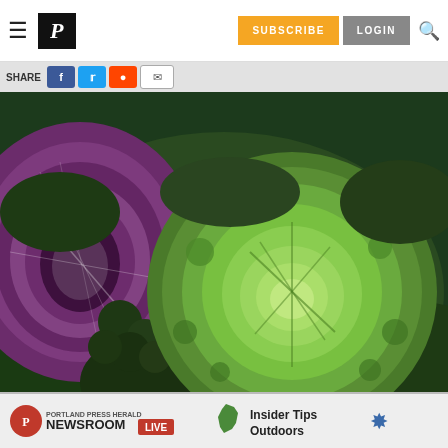P | SUBSCRIBE | LOGIN
[Figure (photo): Close-up photo of Maine-grown cabbages: a purple/red cabbage cut in half on the left showing inner rings, and a green savoy cabbage in the center-right, surrounded by dark leafy greens.]
Maine-grown cabbages. Staff photo by Ben McCanna
I primarily think of cabbage as wintertime
[Figure (infographic): Portland Press Herald Newsroom LIVE banner ad with Insider Tips Outdoors promotion and Maine map icon]